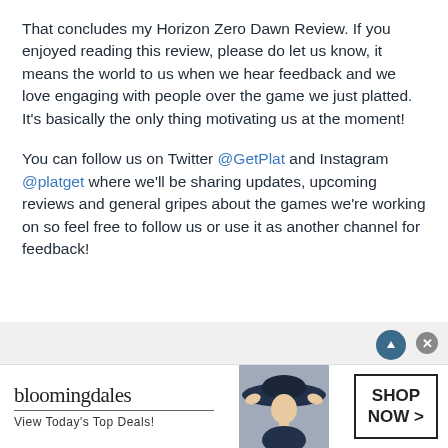That concludes my Horizon Zero Dawn Review. If you enjoyed reading this review, please do let us know, it means the world to us when we hear feedback and we love engaging with people over the game we just platted. It’s basically the only thing motivating us at the moment!
You can follow us on Twitter @GetPlat and Instagram @platget where we’ll be sharing updates, upcoming reviews and general gripes about the games we’re working on so feel free to follow us or use it as another channel for feedback!
[Figure (other): Bloomingdales advertisement banner showing logo, 'View Today’s Top Deals!' text, a woman in a large hat, and a 'SHOP NOW >' button]